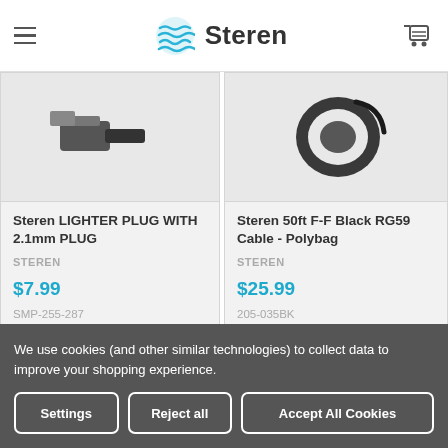Steren
[Figure (photo): Product image for Steren LIGHTER PLUG WITH 2.1mm PLUG (partially cropped)]
Steren LIGHTER PLUG WITH 2.1mm PLUG
STEREN
$7.99
SMP-255-287
[Figure (photo): Product image for Steren 50ft F-F Black RG59 Cable - Polybag (coiled black cable)]
Steren 50ft F-F Black RG59 Cable - Polybag
STEREN
$25.99
205-035BK
We use cookies (and other similar technologies) to collect data to improve your shopping experience.
Settings
Reject all
Accept All Cookies